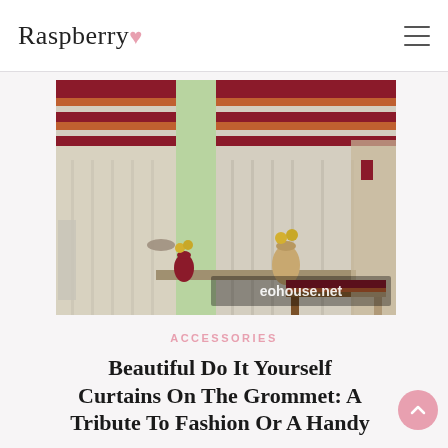Raspberry
[Figure (photo): Photo of beige curtains with red and orange horizontal stripes at the top (grommet curtains), hung in a room with a window. A red vase and yellow flowers on the windowsill. Watermark: eohouse.net]
ACCESSORIES
Beautiful Do It Yourself Curtains On The Grommet: A Tribute To Fashion Or A Handy